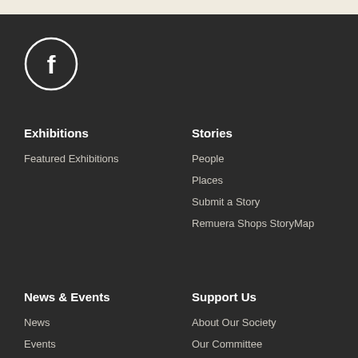[Figure (logo): Facebook icon - white circle with white 'f' letter on dark background]
Exhibitions
Featured Exhibitions
Stories
People
Places
Submit a Story
Remuera Shops StoryMap
News & Events
News
Events
Support Us
About Our Society
Our Committee
Membership